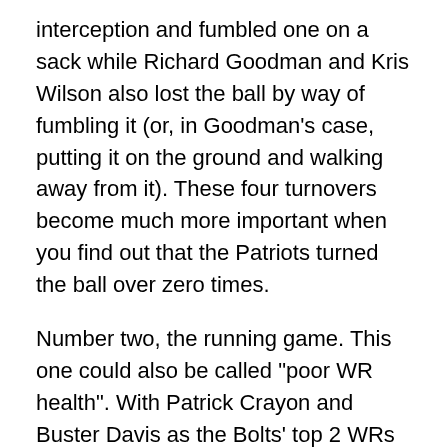interception and fumbled one on a sack while Richard Goodman and Kris Wilson also lost the ball by way of fumbling it (or, in Goodman's case, putting it on the ground and walking away from it). These four turnovers become much more important when you find out that the Patriots turned the ball over zero times.
Number two, the running game. This one could also be called "poor WR health". With Patrick Crayon and Buster Davis as the Bolts' top 2 WRs that day, the Pats focused on stopping the Chargers rushing attack and did just that. Mike Tolbert finished with 5 yards and 1 TD on 2 carries (was he injured? I don't remember), and Ryan Mathews got all of 15 yards on 8 carries before Norv abandoned the ground game.
When the Chargers Run the Ball